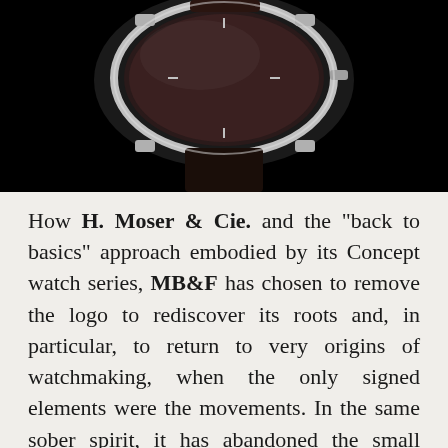[Figure (photo): Close-up photograph of a luxury wristwatch with silver case and dark leather strap on a black background, viewed from above at an angle]
How H. Moser & Cie. and the "back to basics" approach embodied by its Concept watch series, MB&F has chosen to remove the logo to rediscover its roots and, in particular, to return to very origins of watchmaking, when the only signed elements were the movements. In the same sober spirit, it has abandoned the small domed dials for the indication of the hours and minutes and the 45-hour power